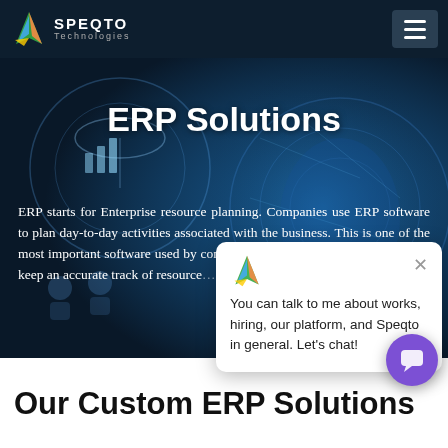SPEQTO Technologies
ERP Solutions
ERP starts for Enterprise resource planning. Companies use ERP software to plan day-to-day activities associated with the business. This is one of the most important software used by companies to increase their efficiency and keep an accurate track of resources, time taken to get a job done, and other such…
You can talk to me about works, hiring, our platform, and Speqto in general. Let's chat!
Our Custom ERP Solutions